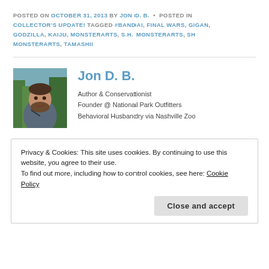POSTED ON OCTOBER 31, 2013 BY JON D. B. • POSTED IN COLLECTOR'S UPDATE! TAGGED #BANDAI, FINAL WARS, GIGAN, GODZILLA, KAIJU, MONSTERARTS, S.H. MONSTERARTS, SH MONSTERARTS, TAMASHII
[Figure (photo): Profile photo of Jon D. B., a man with beard smiling outdoors with trees in background]
Jon D. B.
Author & Conservationist
Founder @ National Park Outfitters
Behavioral Husbandry via Nashville Zoo
Privacy & Cookies: This site uses cookies. By continuing to use this website, you agree to their use.
To find out more, including how to control cookies, see here: Cookie Policy
Close and accept